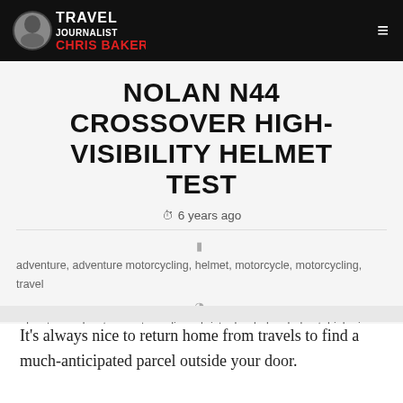Travel Journalist Chris Baker
NOLAN N44 CROSSOVER HIGH-VISIBILITY HELMET TEST
6 years ago
adventure, adventure motorcycling, helmet, motorcycle, motorcycling, travel
adventure, adventure motorcycling, christopher baker, helmet, high-vis, information, motorcycle, motorcycle helmet, motorcycling, nolan
It's always nice to return home from travels to find a much-anticipated parcel outside your door.